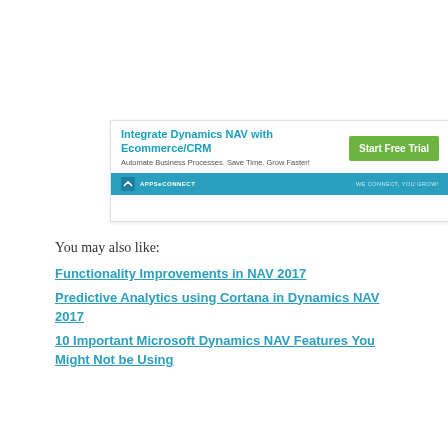[Figure (screenshot): APPSeCONNECT advertisement banner. Top section: 'Integrate Dynamics NAV with Ecommerce/CRM' headline in blue, 'Automate Business Processes. Save Time. Grow Faster!' subtext in gray, and a green 'Start Free Trial' button on the right. Bottom section: blue bar with APPSeCONNECT logo on left and tagline 'WE CONNECT, YOU GROW!' on right.]
You may also like:
Functionality Improvements in NAV 2017
Predictive Analytics using Cortana in Dynamics NAV 2017
10 Important Microsoft Dynamics NAV Features You Might Not be Using